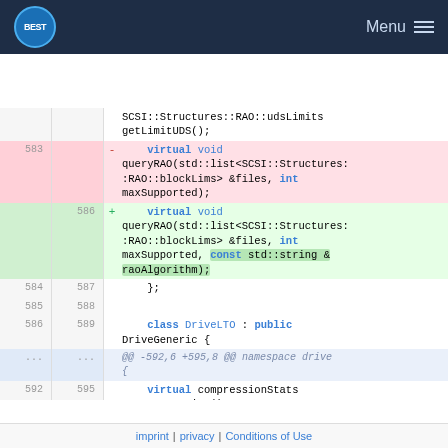BEST Menu
| old_ln | new_ln | diff | code |
| --- | --- | --- | --- |
|  |  |  | SCSI::Structures::RAO::udsLimits getLimitUDS(); |
| 583 |  | - | virtual void queryRAO(std::list<SCSI::Structures::RAO::blockLims> &files, int maxSupported); |
|  | 586 | + | virtual void queryRAO(std::list<SCSI::Structures::RAO::blockLims> &files, int maxSupported, const std::string & raoAlgorithm); |
| 584 | 587 |  | }; |
| 585 | 588 |  |  |
| 586 | 589 |  | class DriveLTO : public DriveGeneric { |
| ... | ... |  | @@ -592,6 +595,8 @@ namespace drive { |
| 592 | 595 |  | virtual compressionStats getCompression(); |
imprint | privacy | Conditions of Use